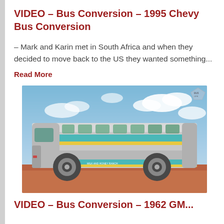VIDEO – Bus Conversion – 1995 Chevy Bus Conversion
– Mark and Karin met in South Africa and when they decided to move back to the US they wanted something...
Read More
[Figure (photo): Silver vintage bus with teal and yellow stripe markings, parked on red dirt ground under a blue sky with clouds. A logo watermark reading 'BUS LIFE' appears in the upper right corner.]
VIDEO – Bus Conversion – 1962 GM...